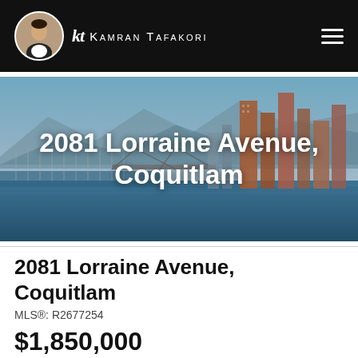Kamran Tafakori
[Figure (photo): Aerial/cityscape photo of Vancouver harbour with marina, bridge, and downtown high-rise buildings under blue sky, used as hero background image]
2081 Lorraine Avenue, Coquitlam
2081 Lorraine Avenue, Coquitlam
MLS®: R2677254
$1,850,000
Calculate Mortgage